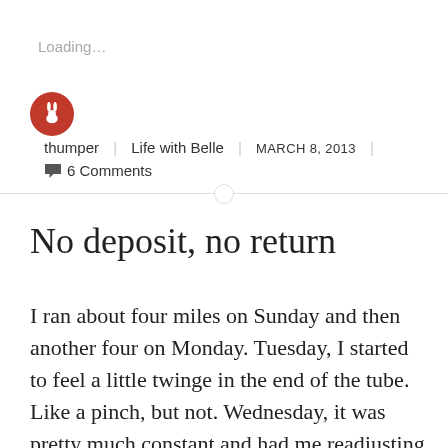Loading...
thumper | Life with Belle | MARCH 8, 2013 | 💬 6 Comments
No deposit, no return
I ran about four miles on Sunday and then another four on Monday. Tuesday, I started to feel a little twinge in the end of the tube. Like a pinch, but not. Wednesday, it was pretty much constant and had me readjusting the device